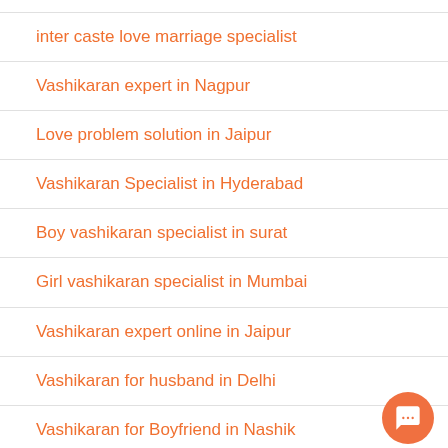inter caste love marriage specialist
Vashikaran expert in Nagpur
Love problem solution in Jaipur
Vashikaran Specialist in Hyderabad
Boy vashikaran specialist in surat
Girl vashikaran specialist in Mumbai
Vashikaran expert online in Jaipur
Vashikaran for husband in Delhi
Vashikaran for Boyfriend in Nashik